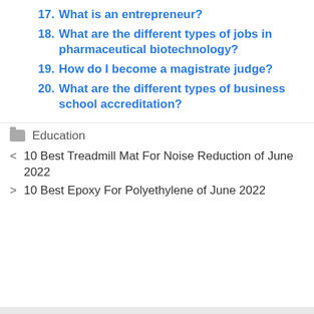17. What is an entrepreneur?
18. What are the different types of jobs in pharmaceutical biotechnology?
19. How do I become a magistrate judge?
20. What are the different types of business school accreditation?
Education
< 10 Best Treadmill Mat For Noise Reduction of June 2022
> 10 Best Epoxy For Polyethylene of June 2022